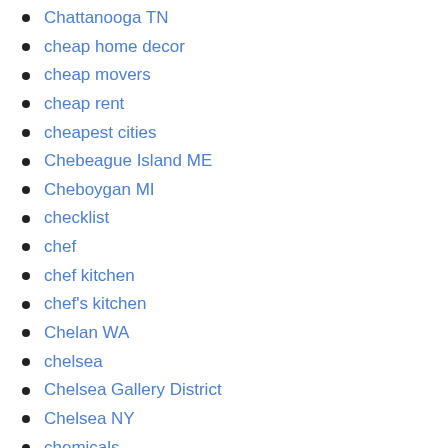Chattanooga TN
cheap home decor
cheap movers
cheap rent
cheapest cities
Chebeague Island ME
Cheboygan MI
checklist
chef
chef kitchen
chef's kitchen
Chelan WA
chelsea
Chelsea Gallery District
Chelsea NY
chemicals
cher
Cherry Hills Village CO
Chesapeake Bay